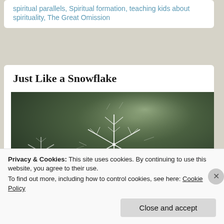spiritual parallels, Spiritual formation, teaching kids about spirituality, The Great Omission
Just Like a Snowflake
[Figure (photo): Close-up macro photograph of a snowflake crystal against a blurred dark green background. The snowflake is white/silver with intricate crystalline branch structures visible.]
Privacy & Cookies: This site uses cookies. By continuing to use this website, you agree to their use.
To find out more, including how to control cookies, see here: Cookie Policy
Close and accept